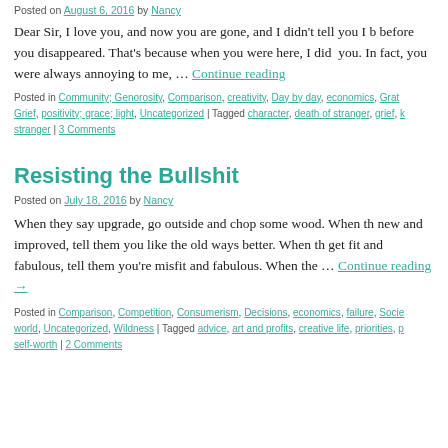Posted on August 6, 2016 by Nancy
Dear Sir, I love you, and now you are gone, and I didn't tell you I before you disappeared. That's because when you were here, I did you. In fact, you were always annoying to me, … Continue reading
Posted in Community; Genorosity, Comparison, creativity, Day by day, economics, Grat Grief, positivity; grace; light, Uncategorized | Tagged character, death of stranger, grief, k stranger | 3 Comments
Resisting the Bullshit
Posted on July 18, 2016 by Nancy
When they say upgrade, go outside and chop some wood. When th new and improved, tell them you like the old ways better. When th get fit and fabulous, tell them you're misfit and fabulous. When the … Continue reading →
Posted in Comparison, Competition, Consumerism, Decisions, economics, failure, Socie world, Uncategorized, Wildness | Tagged advice, art and profits, creative life, priorities, p self-worth | 2 Comments